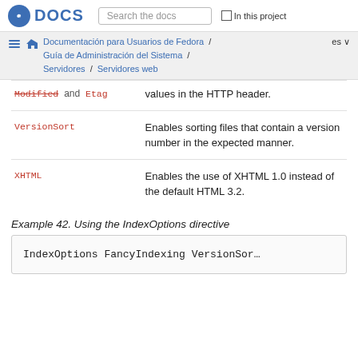Fedora DOCS — Search the docs | In this project
Documentación para Usuarios de Fedora / Guía de Administración del Sistema / Servidores / Servidores web  es
| Term | Description |
| --- | --- |
| Modified and Etag | values in the HTTP header. |
| VersionSort | Enables sorting files that contain a version number in the expected manner. |
| XHTML | Enables the use of XHTML 1.0 instead of the default HTML 3.2. |
Example 42. Using the IndexOptions directive
IndexOptions FancyIndexing VersionSor…